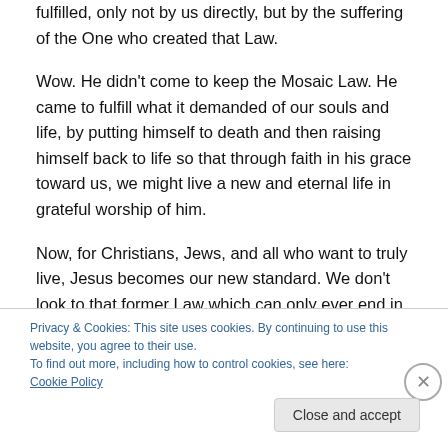fulfilled, only not by us directly, but by the suffering of the One who created that Law.
Wow. He didn't come to keep the Mosaic Law. He came to fulfill what it demanded of our souls and life, by putting himself to death and then raising himself back to life so that through faith in his grace toward us, we might live a new and eternal life in grateful worship of him.
Now, for Christians, Jews, and all who want to truly live, Jesus becomes our new standard. We don't look to that former Law which can only ever end in death. Rather, we
Privacy & Cookies: This site uses cookies. By continuing to use this website, you agree to their use.
To find out more, including how to control cookies, see here: Cookie Policy